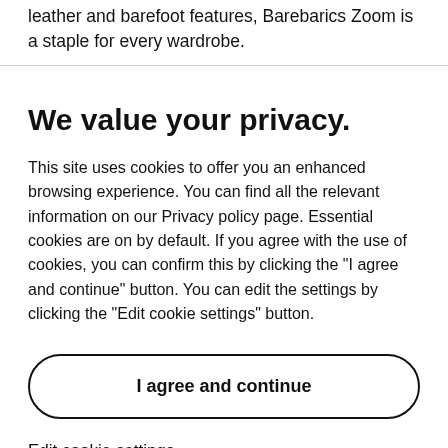leather and barefoot features, Barebarics Zoom is a staple for every wardrobe.
We value your privacy.
This site uses cookies to offer you an enhanced browsing experience. You can find all the relevant information on our Privacy policy page. Essential cookies are on by default. If you agree with the use of cookies, you can confirm this by clicking the "I agree and continue" button. You can edit the settings by clicking the "Edit cookie settings" button.
I agree and continue
Edit cookie settings